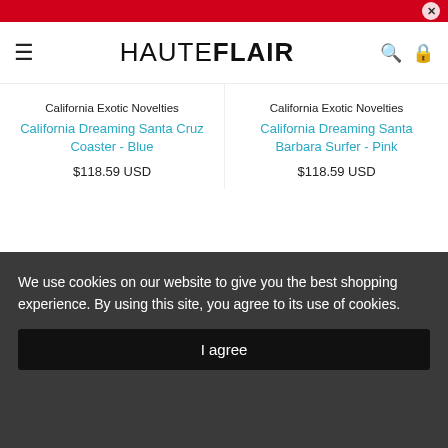HAUTE FLAIR
California Exotic Novelties
California Dreaming Santa Cruz Coaster - Blue
$118.59 USD
California Exotic Novelties
California Dreaming Santa Barbara Surfer - Pink
$118.59 USD
We use cookies on our website to give you the best shopping experience. By using this site, you agree to its use of cookies.
I agree